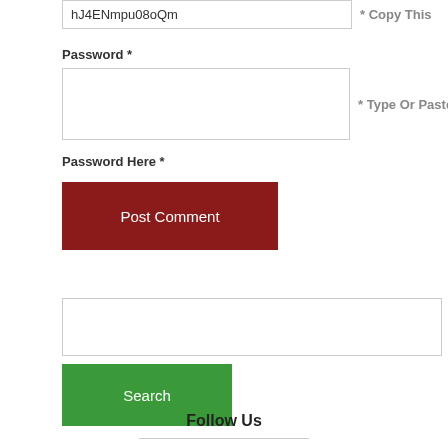hJ4ENmpu08oQm
* Copy This
Password *
[Figure (screenshot): Empty password input text field]
* Type Or Paste
Password Here *
Post Comment
[Figure (screenshot): Empty search input text field]
Search
Follow Us